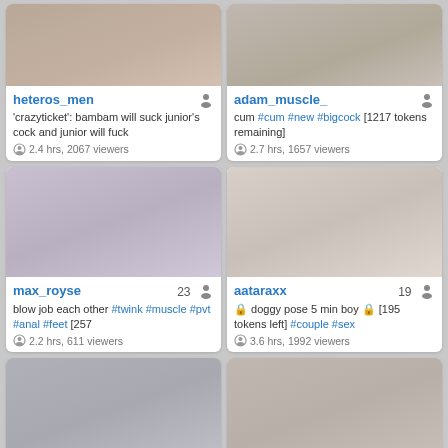[Figure (screenshot): Thumbnail image for heteros_men stream]
heteros_men
'crazyticket': bambam will suck junior's cock and junior will fuck
2.4 hrs, 2067 viewers
[Figure (screenshot): Thumbnail image for adam_muscle_ stream]
adam_muscle_
cum #cum #new #bigcock [1217 tokens remaining]
2.7 hrs, 1657 viewers
[Figure (screenshot): Thumbnail image for max_royse stream]
max_royse 23
blow job each other #twink #muscle #pvt #anal #feet [257
2.2 hrs, 611 viewers
[Figure (screenshot): Thumbnail image for aataraxx stream]
aataraxx 19
🔒 doggy pose 5 min boy 🔒 [195 tokens left] #couple #sex
3.6 hrs, 1992 viewers
[Figure (screenshot): Thumbnail image for hey_arnold stream]
hey_arnold 99
happy saturday! hey! 55 tokens for a ticket cum show #cum
2.1 hrs, 1584 viewers
[Figure (screenshot): Thumbnail image for soccer_hot stream]
soccer_hot
hello andres, he is a friend from the gym he is straight, damn he
3.0 hrs, 1281 viewers